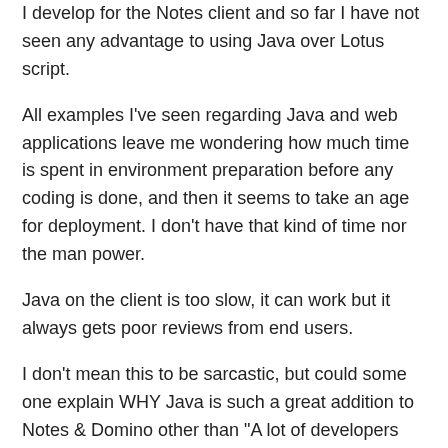I develop for the Notes client and so far I have not seen any advantage to using Java over Lotus script.
All examples I've seen regarding Java and web applications leave me wondering how much time is spent in environment preparation before any coding is done, and then it seems to take an age for deployment. I don't have that kind of time nor the man power.
Java on the client is too slow, it can work but it always gets poor reviews from end users.
I don't mean this to be sarcastic, but could some one explain WHY Java is such a great addition to Notes & Domino other than "A lot of developers use it".